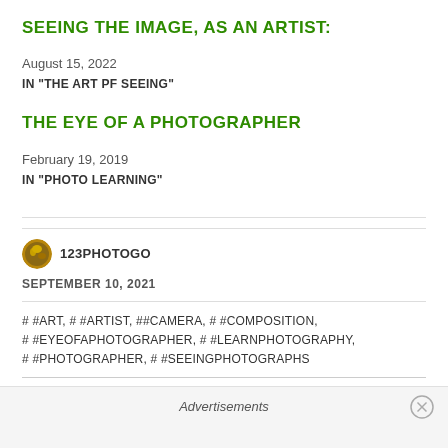SEEING THE IMAGE, AS AN ARTIST:
August 15, 2022
IN "THE ART PF SEEING"
THE EYE OF A PHOTOGRAPHER
February 19, 2019
IN "PHOTO LEARNING"
123PHOTOGO
SEPTEMBER 10, 2021
# #ART, # #ARTIST, ##CAMERA, # #COMPOSITION, # #EYEOFAPHOTOGRAPHER, # #LEARNPHOTOGRAPHY, # #PHOTOGRAPHER, # #SEEINGPHOTOGRAPHS
Advertisements